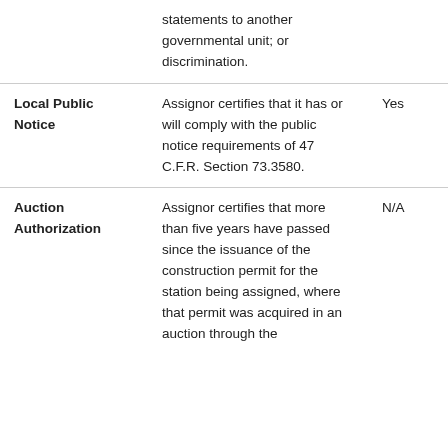|  | statements to another governmental unit; or discrimination. |  |
| Local Public Notice | Assignor certifies that it has or will comply with the public notice requirements of 47 C.F.R. Section 73.3580. | Yes |
| Auction Authorization | Assignor certifies that more than five years have passed since the issuance of the construction permit for the station being assigned, where that permit was acquired in an auction through the [cut off] | N/A |